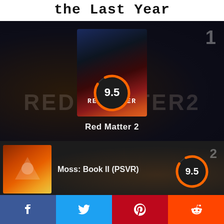Top Games in the Last Year
[Figure (infographic): Ranked game card #1: Red Matter 2 with score 9.5, shown with game cover art and stylized background]
Red Matter 2
[Figure (infographic): Ranked game card #2: Moss: Book II (PSVR) with score 9.5, shown with game thumbnail]
Moss: Book II (PSVR)
[Figure (infographic): Social sharing bar with Facebook, Twitter, Pinterest, and Reddit buttons]